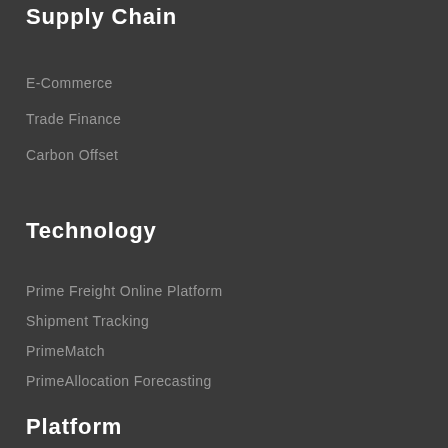Supply Chain
E-Commerce
Trade Finance
Carbon Offset
Technology
Prime Freight Online Platform
Shipment Tracking
PrimeMatch
PrimeAllocation Forecasting
Platform